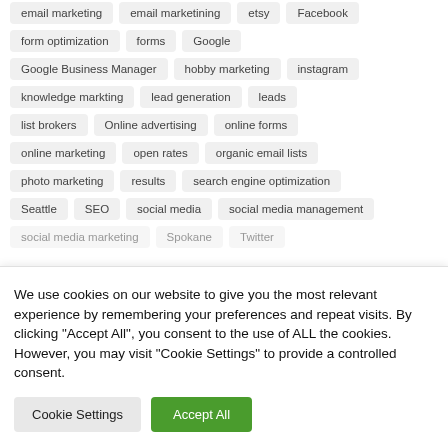email marketing
email marketining
etsy
Facebook
form optimization
forms
Google
Google Business Manager
hobby marketing
instagram
knowledge markting
lead generation
leads
list brokers
Online advertising
online forms
online marketing
open rates
organic email lists
photo marketing
results
search engine optimization
Seattle
SEO
social media
social media management
social media marketing
Spokane
Twitter
We use cookies on our website to give you the most relevant experience by remembering your preferences and repeat visits. By clicking “Accept All”, you consent to the use of ALL the cookies. However, you may visit "Cookie Settings" to provide a controlled consent.
Cookie Settings
Accept All